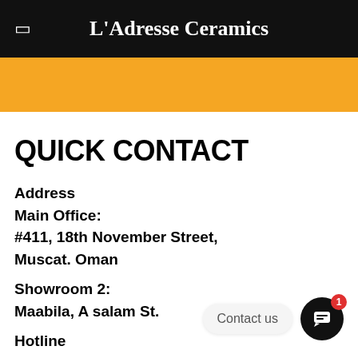L'Adresse Ceramics
[Figure (other): Yellow decorative banner bar]
QUICK CONTACT
Address
Main Office:
#411, 18th November Street,
Muscat. Oman
Showroom 2:
Maabila, A salam St.
Hotline
+968 2284510
[Figure (other): Contact us chat widget with notification badge showing 1]